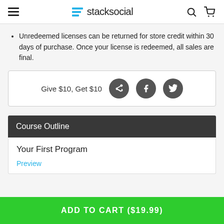stacksocial
Unredeemed licenses can be returned for store credit within 30 days of purchase. Once your license is redeemed, all sales are final.
Give $10, Get $10
Course Outline
Your First Program
Preview
ADD TO CART ($19.99)